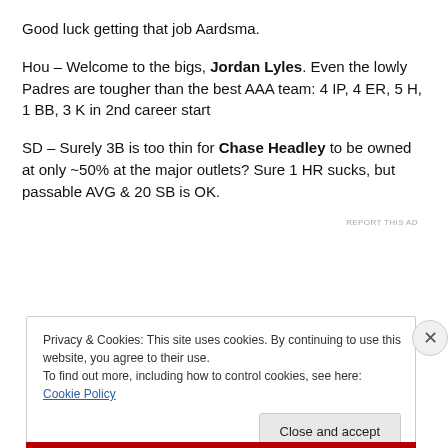Good luck getting that job Aardsma.
Hou – Welcome to the bigs, Jordan Lyles. Even the lowly Padres are tougher than the best AAA team: 4 IP, 4 ER, 5 H, 1 BB, 3 K in 2nd career start
SD – Surely 3B is too thin for Chase Headley to be owned at only ~50% at the major outlets? Sure 1 HR sucks, but passable AVG & 20 SB is OK.
REPORT THIS AD
Privacy & Cookies: This site uses cookies. By continuing to use this website, you agree to their use.
To find out more, including how to control cookies, see here: Cookie Policy
Close and accept